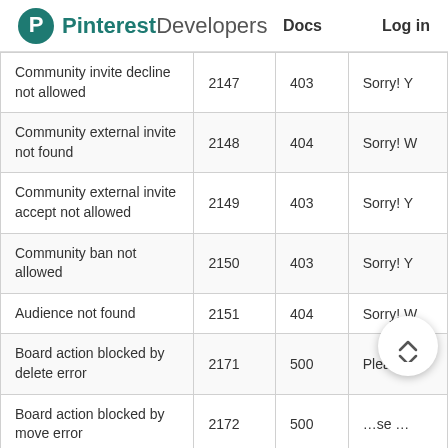Pinterest Developers   Docs   Log in
|  |  |  |  |
| --- | --- | --- | --- |
| Community invite decline not allowed | 2147 | 403 | Sorry! Y… |
| Community external invite not found | 2148 | 404 | Sorry! W… |
| Community external invite accept not allowed | 2149 | 403 | Sorry! Y… |
| Community ban not allowed | 2150 | 403 | Sorry! Y… |
| Audience not found | 2151 | 404 | Sorry! W… |
| Board action blocked by delete error | 2171 | 500 | Please … |
| Board action blocked by move error | 2172 | 500 | Please … |
| Board action blocked by | 2173 | 500 | Please … |